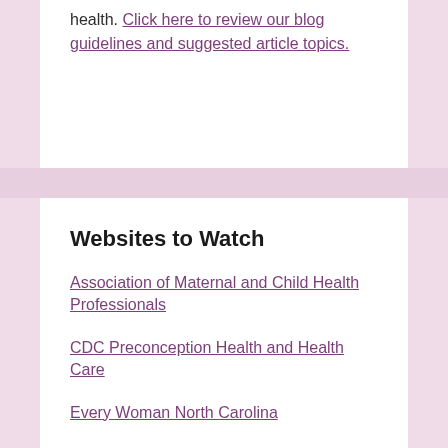health. Click here to review our blog guidelines and suggested article topics.
Websites to Watch
Association of Maternal and Child Health Professionals
CDC Preconception Health and Health Care
Every Woman North Carolina
Before and Beyond
WomensHealth.gov